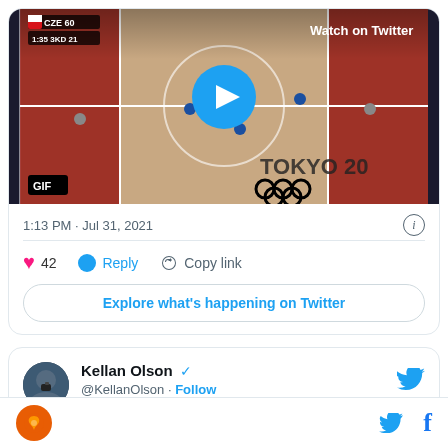[Figure (screenshot): Twitter/X embedded video thumbnail of basketball game at Tokyo 2020 Olympics with Czech Republic scoreboard, GIF label, play button, and Watch on Twitter label]
1:13 PM · Jul 31, 2021
42  Reply  Copy link
Explore what's happening on Twitter
Kellan Olson @KellanOlson · Follow